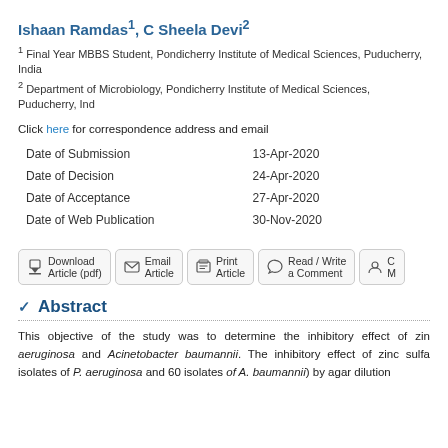Ishaan Ramdas1, C Sheela Devi2
1 Final Year MBBS Student, Pondicherry Institute of Medical Sciences, Puducherry, India
2 Department of Microbiology, Pondicherry Institute of Medical Sciences, Puducherry, Ind
Click here for correspondence address and email
| Date of Submission | 13-Apr-2020 |
| Date of Decision | 24-Apr-2020 |
| Date of Acceptance | 27-Apr-2020 |
| Date of Web Publication | 30-Nov-2020 |
[Figure (other): Action buttons row: Download Article (pdf), Email Article, Print Article, Read/Write a Comment, C M (partially visible)]
Abstract
This objective of the study was to determine the inhibitory effect of zinc... aeruginosa and Acinetobacter baumannii. The inhibitory effect of zinc sulfa... isolates of P. aeruginosa and 60 isolates of A. baumannii) by agar dilution